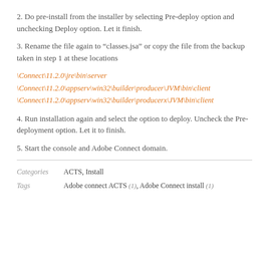2. Do pre-install from the installer by selecting Pre-deploy option and unchecking Deploy option. Let it finish.
3. Rename the file again to “classes.jsa” or copy the file from the backup taken in step 1 at these locations
\Connect\11.2.0\jre\bin\server
\Connect\11.2.0\appserv\win32\builder\producer\JVM\bin\client
\Connect\11.2.0\appserv\win32\builder\producerx\JVM\bin\client
4. Run installation again and select the option to deploy. Uncheck the Pre-deployment option. Let it to finish.
5. Start the console and Adobe Connect domain.
| Field | Value |
| --- | --- |
| Categories | ACTS, Install |
| Tags | Adobe connect ACTS (1), Adobe Connect install (1) |